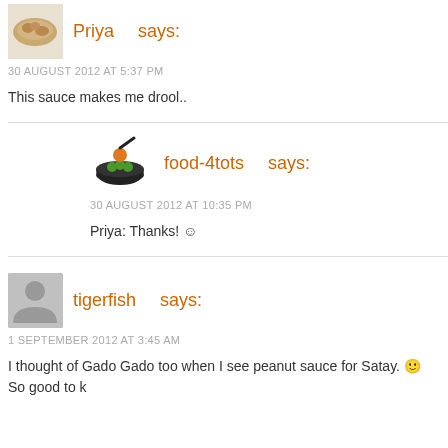Priya says:
30 AUGUST 2012 AT 5:37 PM
This sauce makes me drool..
food-4tots says:
30 AUGUST 2012 AT 10:35 PM
Priya: Thanks! ☺
tigerfish says:
1 SEPTEMBER 2012 AT 3:45 AM
I thought of Gado Gado too when I see peanut sauce for Satay. 🙂 So good to k